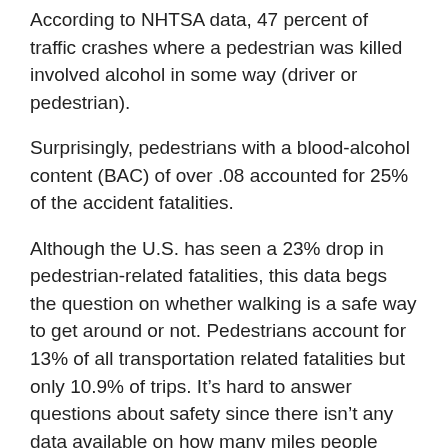According to NHTSA data, 47 percent of traffic crashes where a pedestrian was killed involved alcohol in some way (driver or pedestrian).
Surprisingly, pedestrians with a blood-alcohol content (BAC) of over .08 accounted for 25% of the accident fatalities.
Although the U.S. has seen a 23% drop in pedestrian-related fatalities, this data begs the question on whether walking is a safe way to get around or not. Pedestrians account for 13% of all transportation related fatalities but only 10.9% of trips. It’s hard to answer questions about safety since there isn’t any data available on how many miles people walk each year, or how much time they spend doing it.